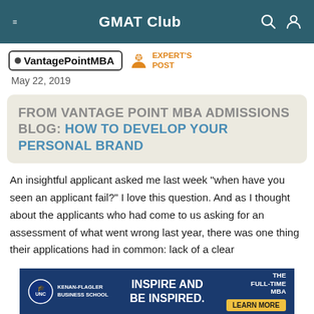GMAT Club
VantagePointMBA  EXPERT'S POST
May 22, 2019
FROM VANTAGE POINT MBA ADMISSIONS BLOG: HOW TO DEVELOP YOUR PERSONAL BRAND
An insightful applicant asked me last week “when have you seen an applicant fail?” I love this question. And as I thought about the applicants who had come to us asking for an assessment of what went wrong last year, there was one thing their applications had in common: lack of a clear
[Figure (other): UNC Kenan-Flagler Business School advertisement banner: INSPIRE AND BE INSPIRED. THE FULL-TIME MBA. LEARN MORE button.]